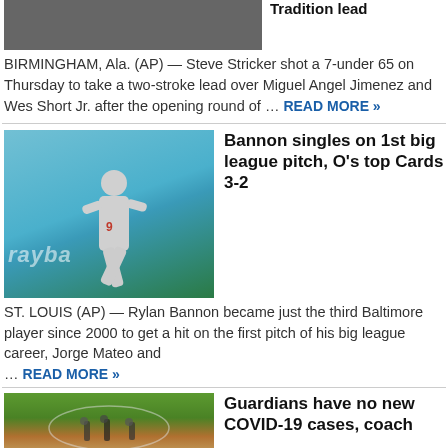[Figure (photo): Partial image of a golfer or sports figure, dark/grey rectangle at top left]
BIRMINGHAM, Ala. (AP) — Steve Stricker shot a 7-under 65 on Thursday to take a two-stroke lead over Miguel Angel Jimenez and Wes Short Jr. after the opening round of … READ MORE »
[Figure (photo): Baseball player in grey uniform running on field with teal/blue Graybar advertisement billboard in background]
Bannon singles on 1st big league pitch, O's top Cards 3-2
ST. LOUIS (AP) — Rylan Bannon became just the third Baltimore player since 2000 to get a hit on the first pitch of his big league career, Jorge Mateo and … READ MORE »
[Figure (photo): Baseball field with groundskeepers or staff on the infield, green grass and dirt visible]
Guardians have no new COVID-19 cases, coach